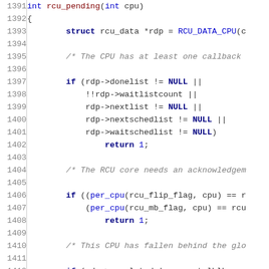[Figure (screenshot): Source code listing of a C function rcu_pending showing line numbers 1391-1420 with syntax highlighting. The code checks various RCU (Read-Copy-Update) conditions and returns 1 if pending work exists, 0 otherwise. A new function static int __cpuinit rcu_cpu_notify begins at line 1420.]